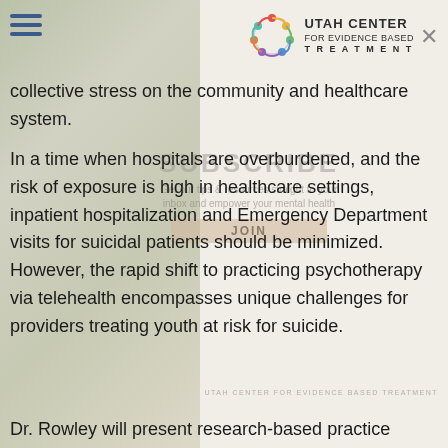[Figure (logo): Utah Center for Evidence Based Treatment logo with circular multicolor icon]
collective stress on the community and healthcare system.
In a time when hospitals are overburdened, and the risk of exposure is high in healthcare settings, inpatient hospitalization and Emergency Department visits for suicidal patients should be minimized. However, the rapid shift to practicing psychotherapy via telehealth encompasses unique challenges for providers treating youth at risk for suicide.
Dr. Rowley will present research-based practice